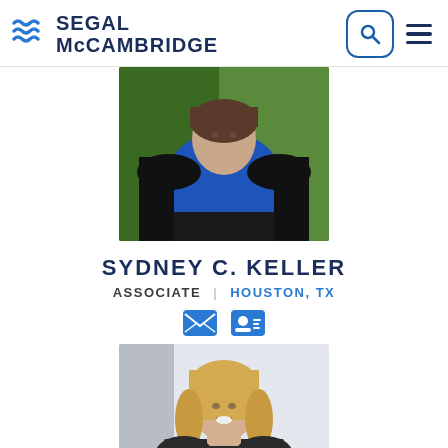Segal McCambridge
[Figure (photo): Professional headshot of Sydney C. Keller, woman in black blazer and blue top, green background]
SYDNEY C. KELLER
ASSOCIATE | Houston, TX
[Figure (photo): Professional headshot of a blonde woman smiling, light gray background]